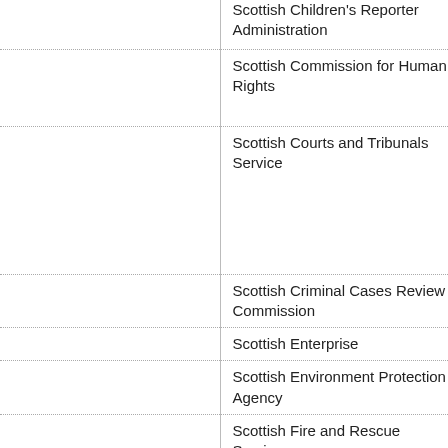Scottish Children's Reporter Administration
Scottish Commission for Human Rights
Scottish Courts and Tribunals Service
Scottish Criminal Cases Review Commission
Scottish Enterprise
Scottish Environment Protection Agency
Scottish Fire and Rescue Service
Scottish Fiscal Commission
Scottish Further and Higher Education Funding Council
Scottish Futures Trust Limited (company number SC348382)